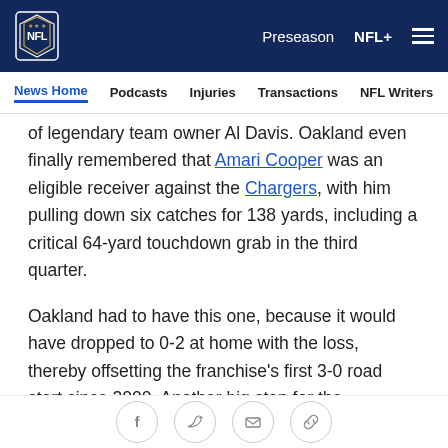NFL | Preseason | NFL+
News Home | Podcasts | Injuries | Transactions | NFL Writers | Se
of legendary team owner Al Davis. Oakland even finally remembered that Amari Cooper was an eligible receiver against the Chargers, with him pulling down six catches for 138 yards, including a critical 64-yard touchdown grab in the third quarter.
Oakland had to have this one, because it would have dropped to 0-2 at home with the loss, thereby offsetting the franchise's first 3-0 road start since 2000. Another big step for the resurgent Raiders awaits next week, a home date against Kansas City. The Chiefs swept Oakland last year and have won five out of six in the